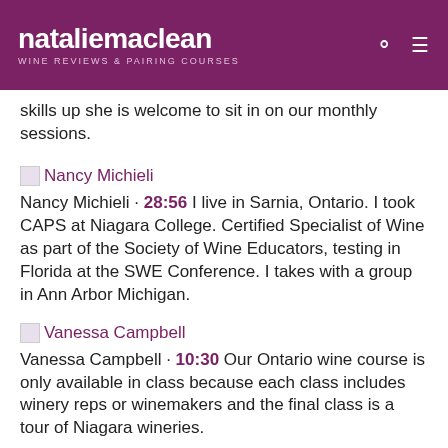natalie maclean — WINE REVIEWS & PAIRING COURSES
skills up she is welcome to sit in on our monthly sessions.
Nancy Michieli · 28:56 I live in Sarnia, Ontario. I took CAPS at Niagara College. Certified Specialist of Wine as part of the Society of Wine Educators, testing in Florida at the SWE Conference. I takes with a group in Ann Arbor Michigan.
Vanessa Campbell · 10:30 Our Ontario wine course is only available in class because each class includes winery reps or winemakers and the final class is a tour of Niagara wineries.
Vanessa Campbell